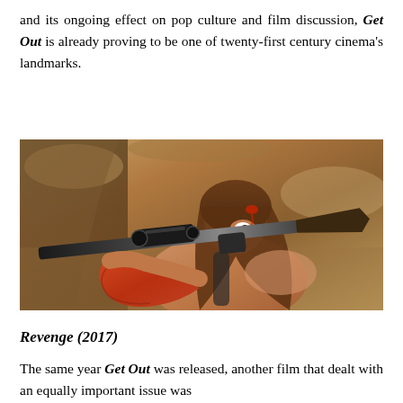and its ongoing effect on pop culture and film discussion, Get Out is already proving to be one of twenty-first century cinema's landmarks.
[Figure (photo): A woman with long hair, bloodied forehead, aiming a rifle with a scope, outdoors in a rocky desert environment. Scene from the film Revenge (2017).]
Revenge (2017)
The same year Get Out was released, another film that dealt with an equally important issue was